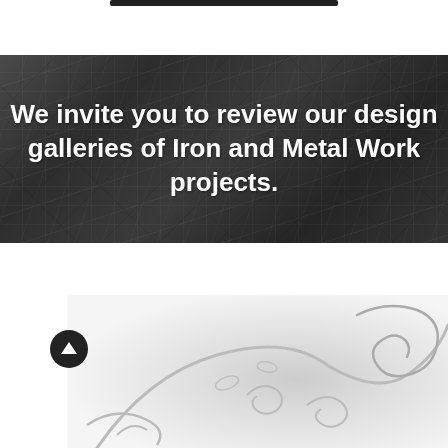[Figure (photo): Dark metallic texture background (brushed/scratched iron or steel surface) with white bold text overlay reading: We invite you to review our design galleries of Iron and Metal Work projects.]
We invite you to review our design galleries of Iron and Metal Work projects.
[Figure (photo): Light gray/white decorative wrought iron scrollwork or metalwork design, partially visible, showing curved ornamental elements against a pale background.]